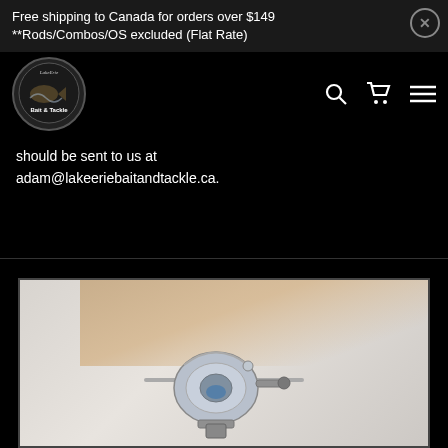Free shipping to Canada for orders over $149
**Rods/Combos/OS excluded (Flat Rate)
[Figure (logo): Lake Erie Bait & Tackle circular logo with fish illustration]
should be sent to us at adam@lakeeriebaitandtackle.ca.
[Figure (photo): Close-up photo of a person holding a fishing spinning reel and rod]